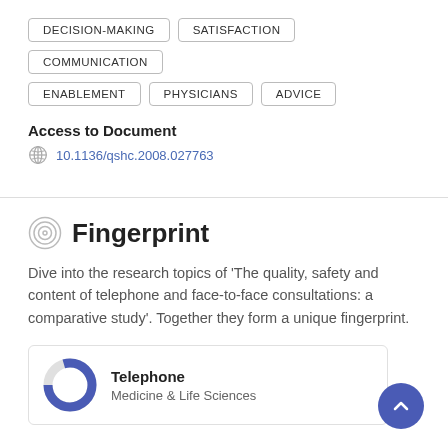DECISION-MAKING
SATISFACTION
COMMUNICATION
ENABLEMENT
PHYSICIANS
ADVICE
Access to Document
10.1136/qshc.2008.027763
Fingerprint
Dive into the research topics of 'The quality, safety and content of telephone and face-to-face consultations: a comparative study'. Together they form a unique fingerprint.
Telephone
Medicine & Life Sciences